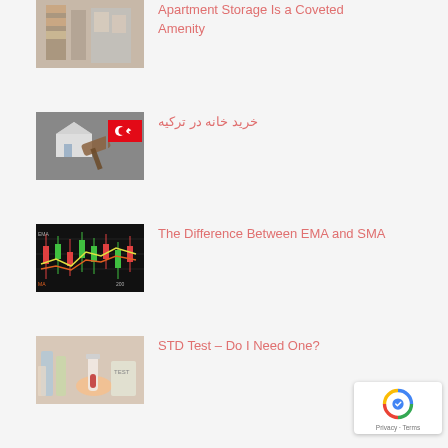[Figure (photo): Apartment storage room with shelves and organized items]
Apartment Storage Is a Coveted Amenity
[Figure (photo): House model with gavel and Turkish flag]
خرید خانه در ترکیه
[Figure (photo): Financial trading chart showing candlestick data with EMA and SMA lines]
The Difference Between EMA and SMA
[Figure (photo): Hand holding a blood test tube with medical supplies]
STD Test – Do I Need One?